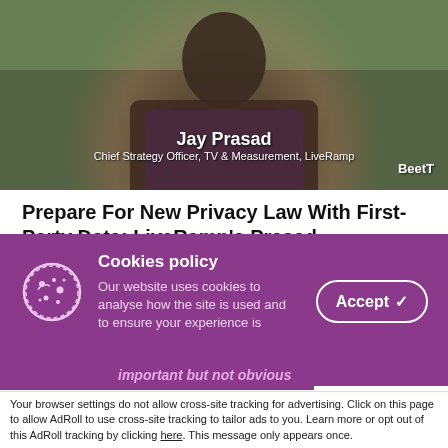[Figure (photo): Video thumbnail showing Jay Prasad, Chief Strategy Officer, TV & Measurement, LiveRamp, with BeetT logo overlay]
Prepare For New Privacy Law With First-Party Data: LiveRamp's Prasad
CANNES — With GDPR, cookie deprecation and limits on mobile device identifiers, it has been a tumultuous couple of
Cookies policy
Our website uses cookies to analyse how the site is used and to ensure your experience is important but not obvious
Accept and Close ×
Your browser settings do not allow cross-site tracking for advertising. Click on this page to allow AdRoll to use cross-site tracking to tailor ads to you. Learn more or opt out of this AdRoll tracking by clicking here. This message only appears once.